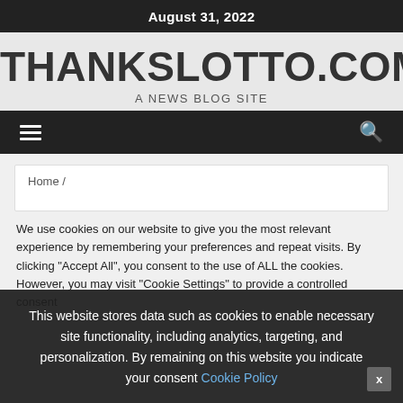August 31, 2022
THANKSLOTTO.COM
A NEWS BLOG SITE
Home /
We use cookies on our website to give you the most relevant experience by remembering your preferences and repeat visits. By clicking “Accept All”, you consent to the use of ALL the cookies. However, you may visit “Cookie Settings” to provide a controlled consent
This website stores data such as cookies to enable necessary site functionality, including analytics, targeting, and personalization. By remaining on this website you indicate your consent Cookie Policy